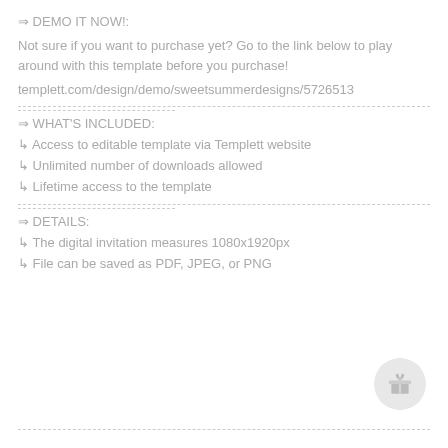⇒ DEMO IT NOW!:
Not sure if you want to purchase yet? Go to the link below to play around with this template before you purchase!
templett.com/design/demo/sweetsummerdesigns/5726513
⇒ WHAT'S INCLUDED:
↳ Access to editable template via Templett website
↳ Unlimited number of downloads allowed
↳ Lifetime access to the template
⇒ DETAILS:
↳ The digital invitation measures 1080x1920px
↳ File can be saved as PDF, JPEG, or PNG